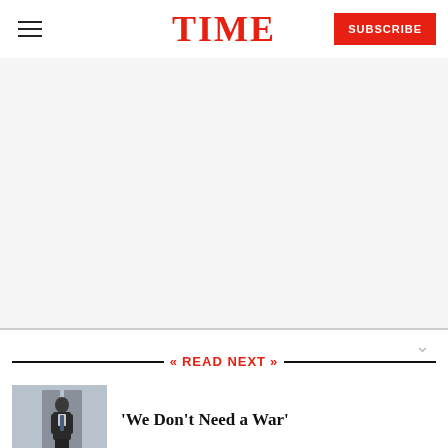TIME
[Figure (other): Advertisement / blank content area below the TIME website header]
READ NEXT
[Figure (photo): A man in a dark suit walking near white columns, likely a politician or official]
'We Don't Need a War'